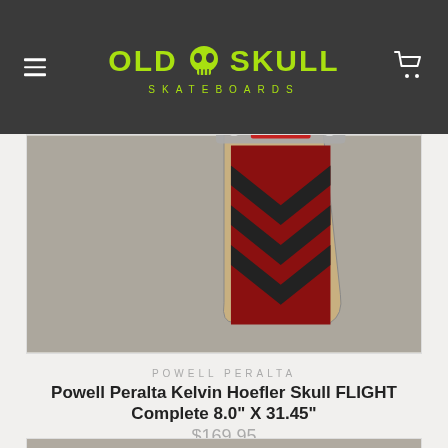OLD SKULL SKATEBOARDS
[Figure (photo): Top portion of a skateboard (Powell Peralta, black and red chevron design) viewed from above on a concrete surface]
POWELL PERALTA
Powell Peralta Kelvin Hoefler Skull FLIGHT Complete 8.0" X 31.45"
$169.95
[Figure (photo): Skateboard (Powell Peralta, white wheels, red and white graphic on deck) viewed from above on a concrete surface]